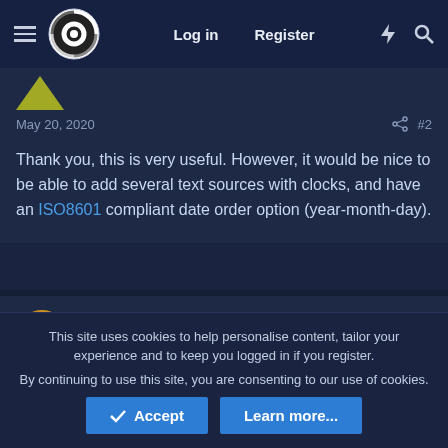Log in   Register
May 20, 2020   #2
Thank you, this is very useful. However, it would be nice to be able to add several text sources with clocks, and have an ISO8601 compliant date order option (year-month-day).
djbauer
New Member
This site uses cookies to help personalise content, tailor your experience and to keep you logged in if you register.
By continuing to use this site, you are consenting to our use of cookies.
Accept   Learn more...